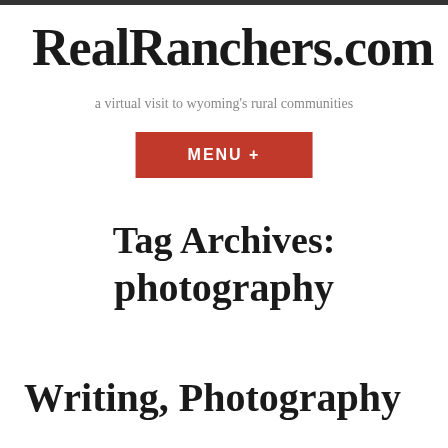RealRanchers.com
a virtual visit to wyoming's rural communities
MENU +
Tag Archives: photography
Writing, Photography and Ranching